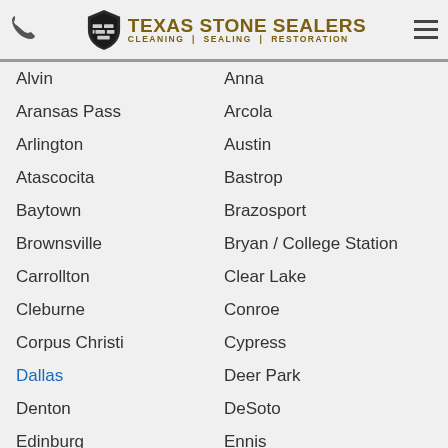Texas Stone Sealers — CLEANING | SEALING | RESTORATION
Alvin
Anna
Aransas Pass
Arcola
Arlington
Austin
Atascocita
Bastrop
Baytown
Brazosport
Brownsville
Bryan / College Station
Carrollton
Clear Lake
Cleburne
Conroe
Corpus Christi
Cypress
Dallas
Deer Park
Denton
DeSoto
Edinburg
Ennis